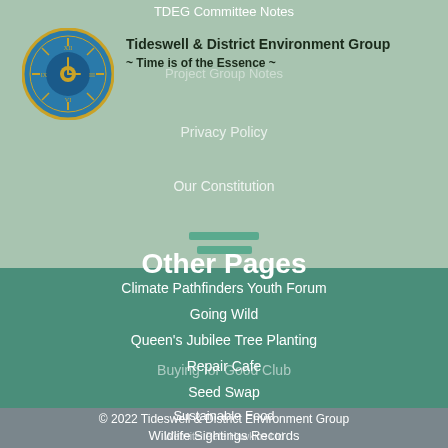TDEG Committee Notes
[Figure (logo): Circular clock/gear logo for Tideswell & District Environment Group with blue and gold coloring]
Tideswell & District Environment Group
~ Time is of the Essence ~
Project Group Notes
Privacy Policy
Our Constitution
Other Pages
Buying for Good Club
Climate Pathfinders Youth Forum
Going Wild
Queen's Jubilee Tree Planting
Repair Cafe
Seed Swap
Sustainable Food
Wildlife Sightings Records
© 2022 Tideswell & District Environment Group
Website: Pete Hawkins Ltd